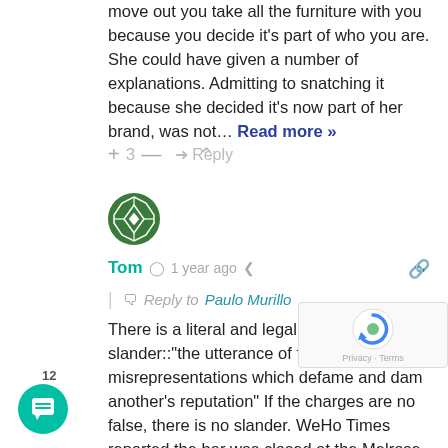move out you take all the furniture with you because you decide it's part of who you are. She could have given a number of explanations. Admitting to snatching it because she decided it's now part of her brand, was not… Read more »
+ 3 — → Reply ∧
[Figure (illustration): Green circular avatar with a decorative geometric compass/diamond pattern]
Tom  🕐 1 year ago  🔗  | 🔁 Reply to Paulo Murillo
There is a literal and legal definition of slander::"the utterance of false charges or misrepresentations which defame and dam another's reputation" If the charges are no false, there is no slander. WeHo Times reported the bar was closed at the Melrose location. It was. They reported that the concrete Judy